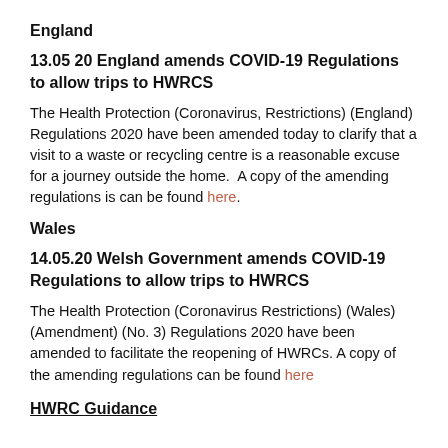England
13.05 20 England amends COVID-19 Regulations to allow trips to HWRCS
The Health Protection (Coronavirus, Restrictions) (England) Regulations 2020 have been amended today to clarify that a visit to a waste or recycling centre is a reasonable excuse for a journey outside the home.  A copy of the amending regulations is can be found here.
Wales
14.05.20 Welsh Government amends COVID-19 Regulations to allow trips to HWRCS
The Health Protection (Coronavirus Restrictions) (Wales) (Amendment) (No. 3) Regulations 2020 have been amended to facilitate the reopening of HWRCs. A copy of the amending regulations can be found here
HWRC Guidance